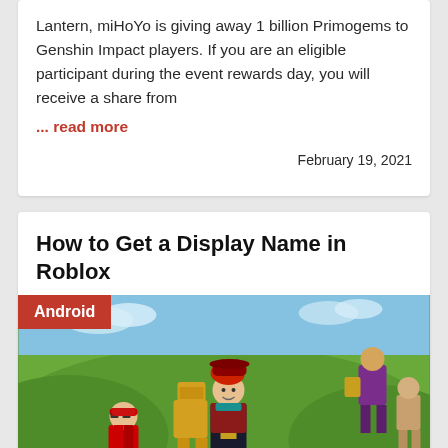Lantern, miHoYo is giving away 1 billion Primogems to Genshin Impact players. If you are an eligible participant during the event rewards day, you will receive a share from
... read more
February 19, 2021
How to Get a Display Name in Roblox
[Figure (photo): Roblox game characters in a colorful outdoor scene with blocky avatar characters including a character with red hair wearing a pirate hat, various other Roblox avatars with weapons and accessories, green landscape background]
Android